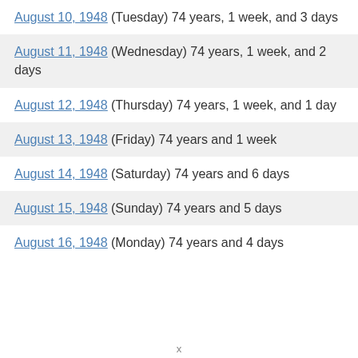August 10, 1948 (Tuesday) 74 years, 1 week, and 3 days
August 11, 1948 (Wednesday) 74 years, 1 week, and 2 days
August 12, 1948 (Thursday) 74 years, 1 week, and 1 day
August 13, 1948 (Friday) 74 years and 1 week
August 14, 1948 (Saturday) 74 years and 6 days
August 15, 1948 (Sunday) 74 years and 5 days
August 16, 1948 (Monday) 74 years and 4 days